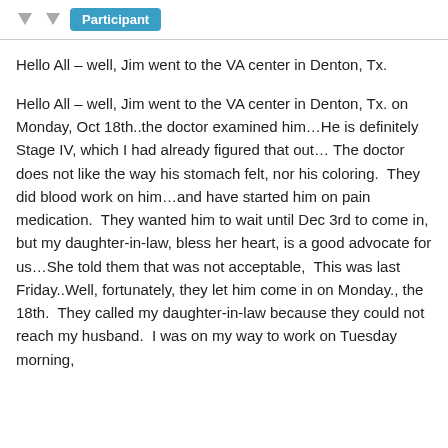Participant
Hello All – well, Jim went to the VA center in Denton, Tx.
Hello All – well, Jim went to the VA center in Denton, Tx. on Monday, Oct 18th..the doctor examined him…He is definitely Stage IV, which I had already figured that out… The doctor does not like the way his stomach felt, nor his coloring.  They did blood work on him…and have started him on pain medication.  They wanted him to wait until Dec 3rd to come in, but my daughter-in-law, bless her heart, is a good advocate for us…She told them that was not acceptable,  This was last Friday..Well, fortunately, they let him come in on Monday., the 18th.  They called my daughter-in-law because they could not reach my husband.  I was on my way to work on Tuesday morning,